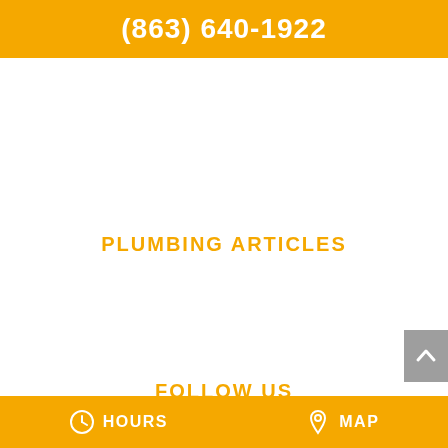(863) 640-1922
PLUMBING ARTICLES
FOLLOW US
[Figure (other): Social media icons row: Facebook, YouTube, Twitter, LinkedIn, Pinterest, Google+]
[Figure (other): Scroll to top button with upward chevron arrow on grey background]
HOURS   MAP